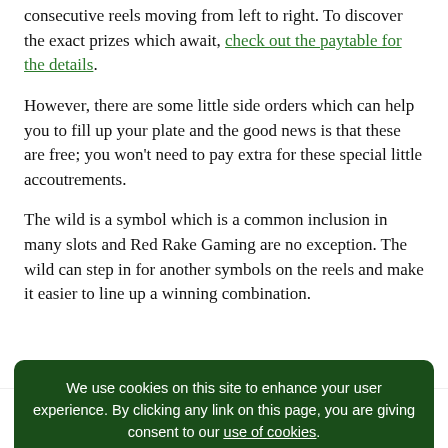consecutive reels moving from left to right. To discover the exact prizes which await, check out the paytable for the details.
However, there are some little side orders which can help you to fill up your plate and the good news is that these are free; you won't need to pay extra for these special little accoutrements.
The wild is a symbol which is a common inclusion in many slots and Red Rake Gaming are no exception. The wild can step in for another symbols on the reels and make it easier to line up a winning combination.
We use cookies on this site to enhance your user experience. By clicking any link on this page, you are giving consent to our use of cookies.
However, the big win is the really exciting news and this hovers